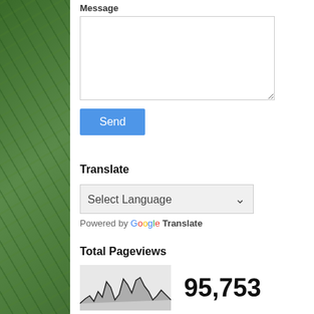Message
Send
Translate
Select Language
Powered by Google Translate
Total Pageviews
[Figure (line-chart): Sparkline area chart showing pageview history with mountain-like peaks and valleys]
95,753
Si